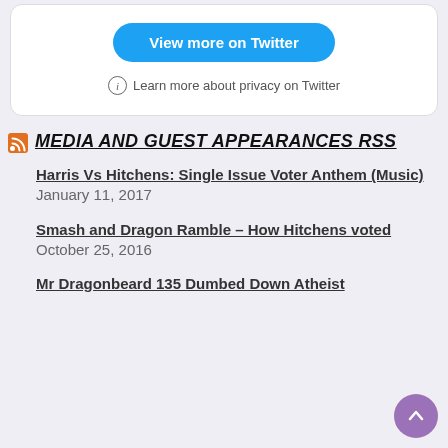[Figure (screenshot): Twitter widget box with a blue 'View more on Twitter' button and a privacy info link]
MEDIA AND GUEST APPEARANCES RSS
Harris Vs Hitchens: Single Issue Voter Anthem (Music) January 11, 2017
Smash and Dragon Ramble – How Hitchens voted October 25, 2016
Mr Dragonbeard 135 Dumbed Down Atheist